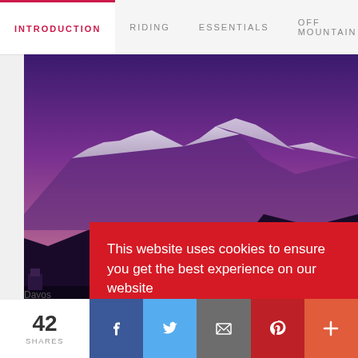INTRODUCTION   RIDING   ESSENTIALS   OFF MOUNTAIN
[Figure (photo): Snow-capped mountains under a deep purple/violet twilight sky, with dark forested slopes in the foreground. Location: Davos.]
This website uses cookies to ensure you get the best experience on our website
Read more
Yeh whatever
Davos
42
SHARES